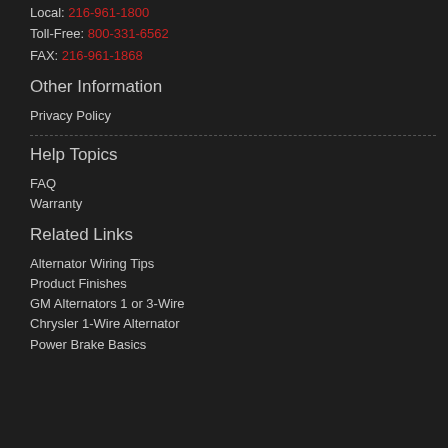Local: 216-961-1800
Toll-Free: 800-331-6562
FAX: 216-961-1868
Other Information
Privacy Policy
Help Topics
FAQ
Warranty
Related Links
Alternator Wiring Tips
Product Finishes
GM Alternators 1 or 3-Wire
Chrysler 1-Wire Alternator
Power Brake Basics